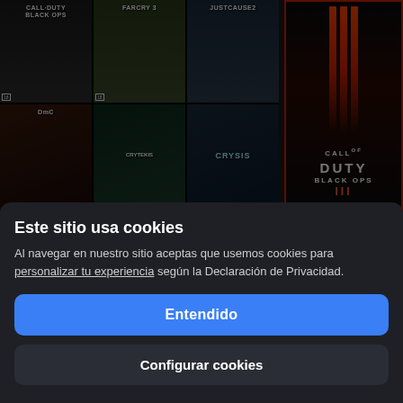[Figure (screenshot): A screenshot of a Spanish e-commerce or gaming marketplace website showing video game covers including Call of Duty Black Ops, Far Cry 3, Just Cause 2, DmC, and Crysis in a grid collage on the left, and Call of Duty Black Ops III on the right. A cookie consent modal overlays the bottom half of the screen with title 'Este sitio usa cookies', body text about accepting cookies, and two buttons: 'Entendido' (blue) and 'Configurar cookies' (dark).]
Este sitio usa cookies
Al navegar en nuestro sitio aceptas que usemos cookies para personalizar tu experiencia según la Declaración de Privacidad.
Entendido
Configurar cookies